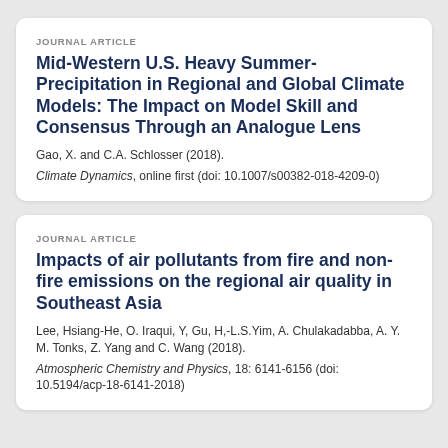JOURNAL ARTICLE
Mid-Western U.S. Heavy Summer-Precipitation in Regional and Global Climate Models: The Impact on Model Skill and Consensus Through an Analogue Lens
Gao, X. and C.A. Schlosser (2018).
Climate Dynamics, online first (doi: 10.1007/s00382-018-4209-0)
JOURNAL ARTICLE
Impacts of air pollutants from fire and non-fire emissions on the regional air quality in Southeast Asia
Lee, Hsiang-He, O. Iraqui, Y, Gu, H,-L.S.Yim, A. Chulakadabba, A. Y. M. Tonks, Z. Yang and C. Wang (2018).
Atmospheric Chemistry and Physics, 18: 6141-6156 (doi: 10.5194/acp-18-6141-2018)